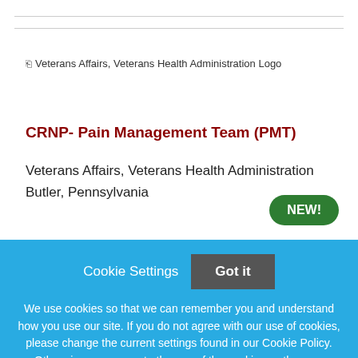[Figure (logo): Veterans Affairs, Veterans Health Administration Logo (broken image placeholder)]
CRNP- Pain Management Team (PMT)
Veterans Affairs, Veterans Health Administration
Butler, Pennsylvania
NEW!
Cookie Settings
Got it
We use cookies so that we can remember you and understand how you use our site. If you do not agree with our use of cookies, please change the current settings found in our Cookie Policy. Otherwise, you agree to the use of the cookies as they are currently set.